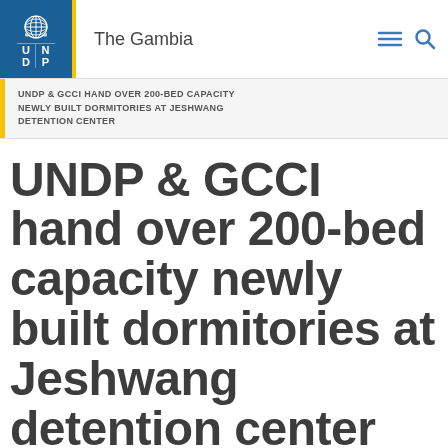The Gambia
UNDP & GCCI HAND OVER 200-BED CAPACITY NEWLY BUILT DORMITORIES AT JESHWANG DETENTION CENTER
UNDP & GCCI hand over 200-bed capacity newly built dormitories at Jeshwang detention center
POSTED DECEMBER 18, 2020